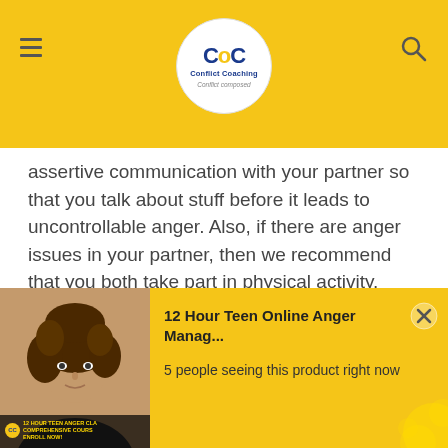Conflict Coaching — CoC
assertive communication with your partner so that you talk about stuff before it leads to uncontrollable anger. Also, if there are anger issues in your partner, then we recommend that you both take part in physical activity.
This will help you get closer, and also give you a source to release your anger and other negativity. Lastly, if you want a tried-and-tested way of anger management in anger, then you should get enrolled
[Figure (screenshot): Popup advertisement banner for '12 Hour Teen Online Anger Manag...' course showing a photo of a person with curly hair and yellow background with decorative circles]
12 Hour Teen Online Anger Manag...
5 people seeing this product right now